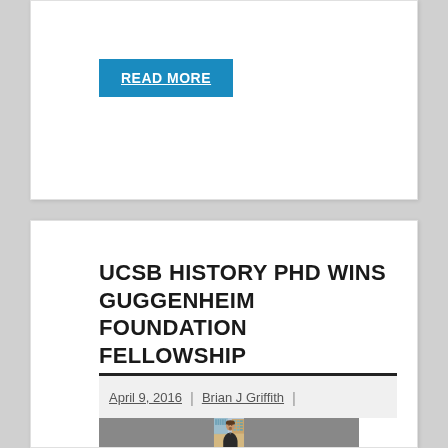READ MORE
UCSB HISTORY PHD WINS GUGGENHEIM FOUNDATION FELLOWSHIP
April 9, 2016 | Brian J Griffith |
[Figure (photo): Headshot of Brian J Griffith smiling outdoors in front of a brick building with glass windows, wearing a dark jacket.]